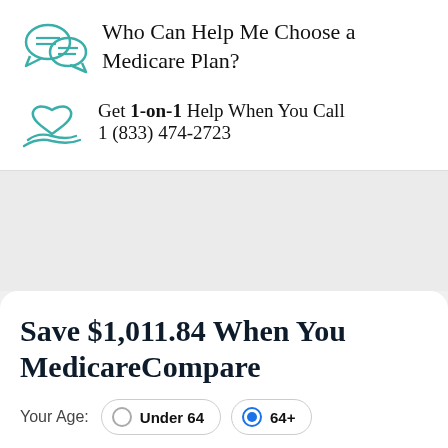Who Can Help Me Choose a Medicare Plan?
Get 1-on-1 Help When You Call
1 (833) 474-2723
Save $1,011.84 When You MedicareCompare
Your Age: Under 64 | 64+ (selected)
33428 | Get Started >